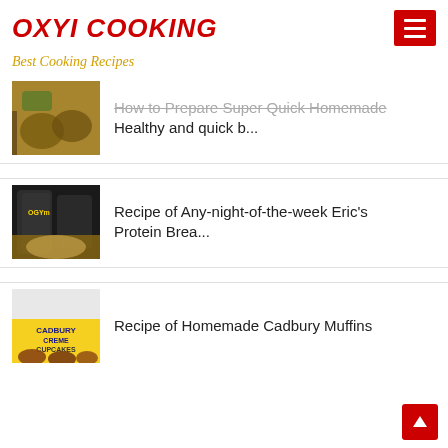OXYI COOKING
Best Cooking Recipes
How to Prepare Super Quick Homemade Healthy and quick b...
Recipe of Any-night-of-the-week Eric's Protein Brea...
Recipe of Homemade Cadbury Muffins